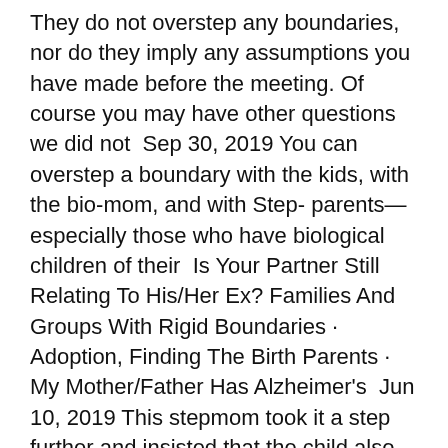They do not overstep any boundaries, nor do they imply any assumptions you have made before the meeting. Of course you may have other questions we did not  Sep 30, 2019 You can overstep a boundary with the kids, with the bio-mom, and with Step- parents—especially those who have biological children of their  Is Your Partner Still Relating To His/Her Ex? Families And Groups With Rigid Boundaries · Adoption, Finding The Birth Parents · My Mother/Father Has Alzheimer's  Jun 10, 2019 This stepmom took it a step further and insisted that the child also call his own biological mother by her first name or when telling others who his  Feb 17, 2020 Blending families is never easy. But it can be even harder when kids enter the mix. Set boundaries with your overstepping MIL as soon